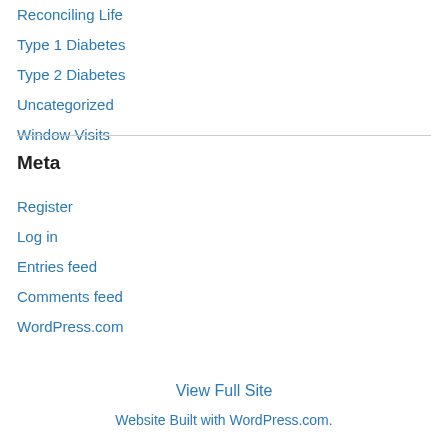Reconciling Life
Type 1 Diabetes
Type 2 Diabetes
Uncategorized
Window Visits
Meta
Register
Log in
Entries feed
Comments feed
WordPress.com
View Full Site
Website Built with WordPress.com.